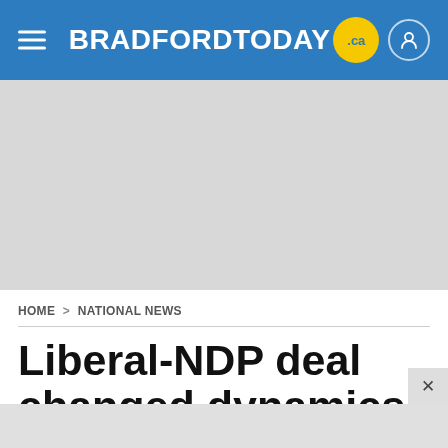BRADFORDTODAY .ca
[Figure (other): Gray advertisement placeholder area]
HOME > NATIONAL NEWS
Liberal-NDP deal changed dynamics in